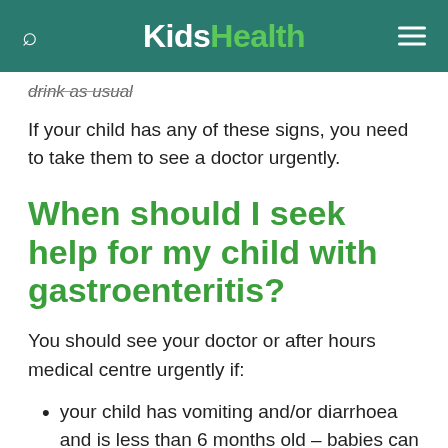KidsHealth
drink as usual
If your child has any of these signs, you need to take them to see a doctor urgently.
When should I seek help for my child with gastroenteritis?
You should see your doctor or after hours medical centre urgently if:
your child has vomiting and/or diarrhoea and is less than 6 months old – babies can